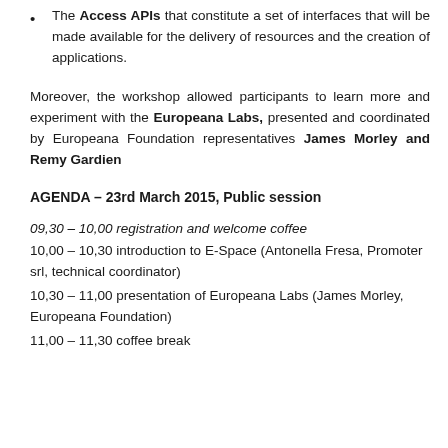The Access APIs that constitute a set of interfaces that will be made available for the delivery of resources and the creation of applications.
Moreover, the workshop allowed participants to learn more and experiment with the Europeana Labs, presented and coordinated by Europeana Foundation representatives James Morley and Remy Gardien
AGENDA – 23rd March 2015, Public session
09,30 – 10,00 registration and welcome coffee
10,00 – 10,30 introduction to E-Space (Antonella Fresa, Promoter srl, technical coordinator)
10,30 – 11,00 presentation of Europeana Labs (James Morley, Europeana Foundation)
11,00 – 11,30 coffee break